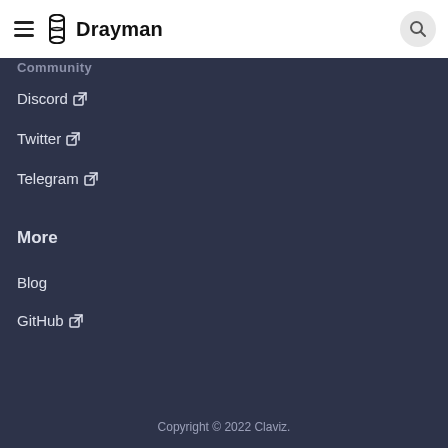Drayman
Community
Discord ↗
Twitter ↗
Telegram ↗
More
Blog
GitHub ↗
Copyright © 2022 Claviz.